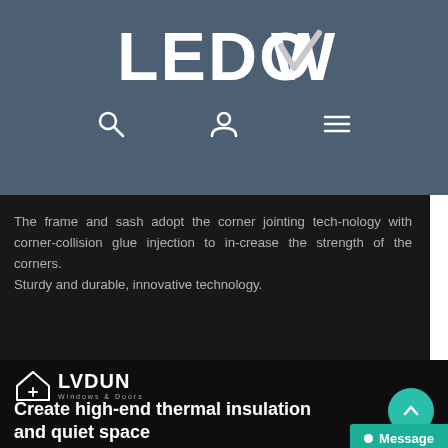[Figure (logo): LEDOW logo with stylized checkmark on dark grey header bar, with navigation icons: search, user, and hamburger menu]
The frame and sash adopt the corner jointing technology with corner-collision glue injection to increase the strength of the corners. Sturdy and durable, innovative technology.
[Figure (logo): LVDUN Windows & Doors logo with house icon on dark background]
Create high-end thermal insulation and quiet space